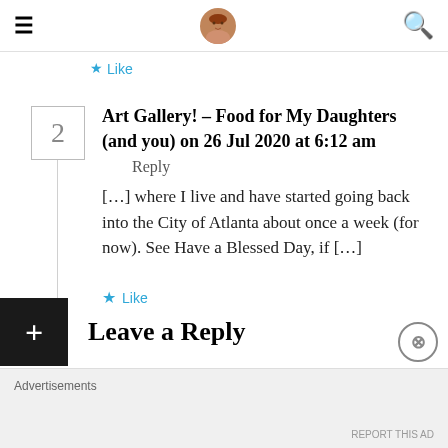Navigation bar with hamburger menu, avatar icon, and search icon
Like
2
Art Gallery! – Food for My Daughters (and you) on 26 Jul 2020 at 6:12 am
Reply
[...] where I live and have started going back into the City of Atlanta about once a week (for now). See Have a Blessed Day, if [...]
Like
Leave a Reply
Advertisements